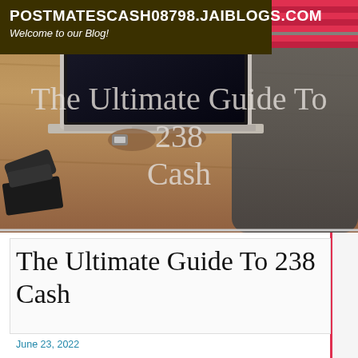POSTMATESCASH08798.JAIBLOGS.COM
Welcome to our Blog!
[Figure (photo): Person typing on a laptop at a wooden desk with a smartphone and wallet nearby, viewed from above and behind. The photo serves as a hero banner image.]
The Ultimate Guide To 238 Cash
June 23, 2022
Credit history bureau – A company that works to compile the credit